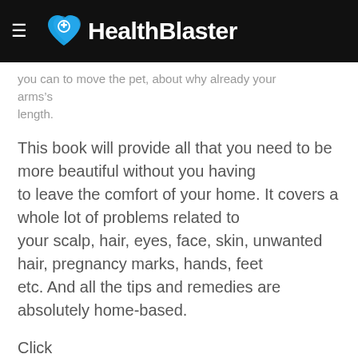HealthBlaster
you can to move the pet, about why already your arms’s length.
This book will provide all that you need to be more beautiful without you having to leave the comfort of your home. It covers a whole lot of problems related to your scalp, hair, eyes, face, skin, unwanted hair, pregnancy marks, hands, feet etc. And all the tips and remedies are absolutely home-based.
Click here to have a look at the preview